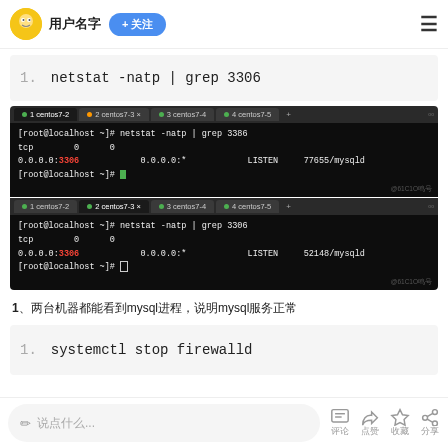用户名  + 关注  ≡
1.  netstat -natp | grep 3306
[Figure (screenshot): Terminal screenshot showing two centos7 tabs. Top tab (centos7-2 active): [root@localhost ~]# netstat -natp | grep 3386, tcp 0 0 0.0.0.0:3306 0.0.0.0:* LISTEN 77655/mysqld, [root@localhost ~]#. Bottom tab (centos7-3 active): [root@localhost ~]# netstat -natp | grep 3306, tcp 0 0 0.0.0.0:3306 0.0.0.0:* LISTEN 52148/mysqld, [root@localhost ~]#]
1、两台机器都能看到mysql进程，说明mysql服务正常
1.  systemctl stop firewalld
✏ 说点什么...